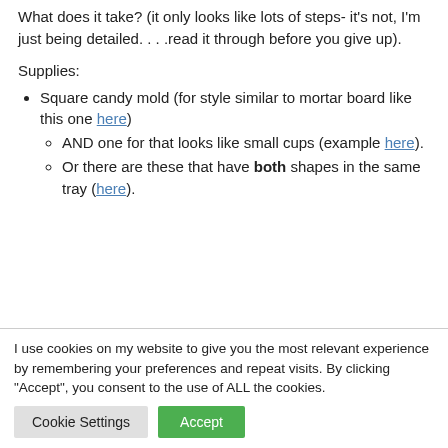What does it take? (it only looks like lots of steps- it's not, I'm just being detailed....read it through before you give up).
Supplies:
Square candy mold (for style similar to mortar board like this one here)
AND one for that looks like small cups (example here).
Or there are these that have both shapes in the same tray (here).
I use cookies on my website to give you the most relevant experience by remembering your preferences and repeat visits. By clicking "Accept", you consent to the use of ALL the cookies.